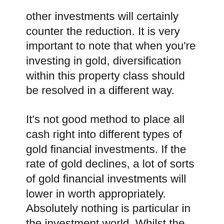other investments will certainly counter the reduction. It is very important to note that when you're investing in gold, diversification within this property class should be resolved in a different way.
It's not good method to place all cash right into different types of gold financial investments. If the rate of gold declines, a lot of sorts of gold financial investments will lower in worth appropriately. Absolutely nothing is particular in the investment world. Whilst the amount of gold is limited, a significant quantity of it could be found tomorrow– dropping its worth.
Precious Metals Investment